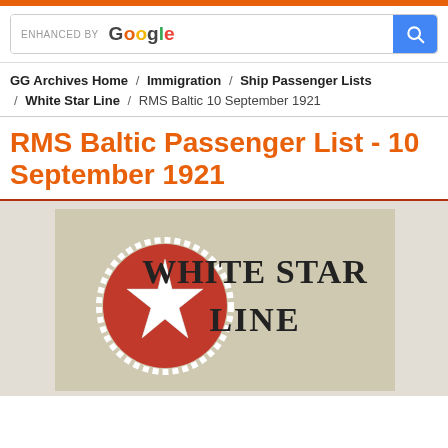ENHANCED BY Google [search bar]
GG Archives Home / Immigration / Ship Passenger Lists / White Star Line / RMS Baltic 10 September 1921
RMS Baltic Passenger List - 10 September 1921
[Figure (illustration): White Star Line logo — a white star on a red circular badge with white laurel wreath, beside the text 'WHITE STAR LINE' in large serif capitals, on a tan/beige background]